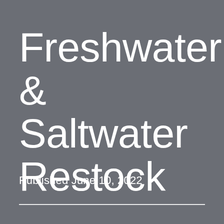Freshwater & Saltwater Restock
Published June 10, 2022